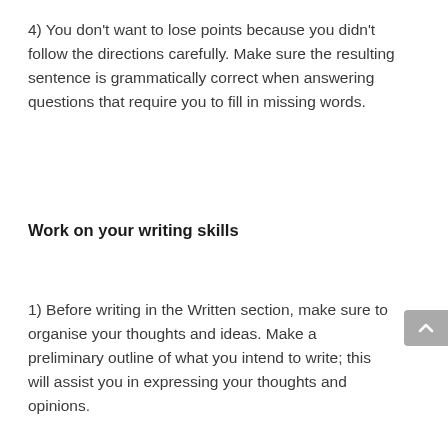4) You don't want to lose points because you didn't follow the directions carefully. Make sure the resulting sentence is grammatically correct when answering questions that require you to fill in missing words.
Work on your writing skills
1) Before writing in the Written section, make sure to organise your thoughts and ideas. Make a preliminary outline of what you intend to write; this will assist you in expressing your thoughts and opinions.